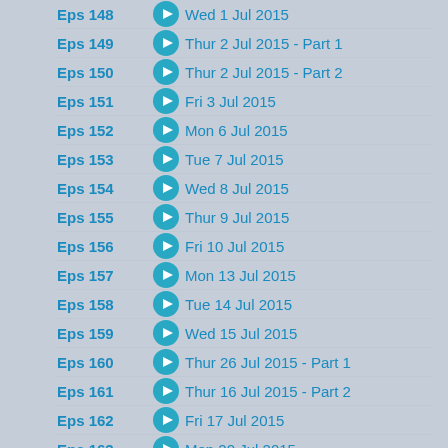Eps 148 | Wed 1 Jul 2015
Eps 149 | Thur 2 Jul 2015 - Part 1
Eps 150 | Thur 2 Jul 2015 - Part 2
Eps 151 | Fri 3 Jul 2015
Eps 152 | Mon 6 Jul 2015
Eps 153 | Tue 7 Jul 2015
Eps 154 | Wed 8 Jul 2015
Eps 155 | Thur 9 Jul 2015
Eps 156 | Fri 10 Jul 2015
Eps 157 | Mon 13 Jul 2015
Eps 158 | Tue 14 Jul 2015
Eps 159 | Wed 15 Jul 2015
Eps 160 | Thur 26 Jul 2015 - Part 1
Eps 161 | Thur 16 Jul 2015 - Part 2
Eps 162 | Fri 17 Jul 2015
Eps 163 | Mon 20 Jul 2015